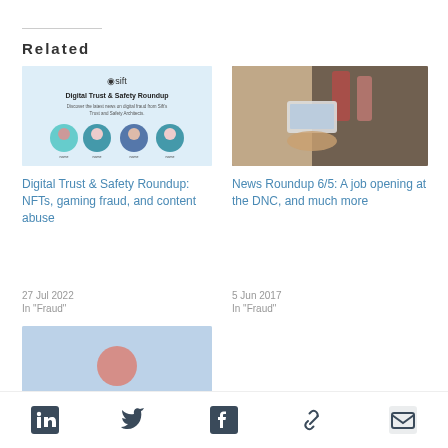Related
[Figure (photo): Digital Trust & Safety Roundup promotional image with Sift logo and four circular headshots]
Digital Trust & Safety Roundup: NFTs, gaming fraud, and content abuse
27 Jul 2022
In "Fraud"
[Figure (photo): Photo of a person holding a smartphone to scan or photograph a credit card at a restaurant table with drinks]
News Roundup 6/5: A job opening at the DNC, and much more
5 Jun 2017
In "Fraud"
[Figure (photo): Partial third related article image, cut off at page bottom]
LinkedIn Twitter Facebook Link Email social share icons